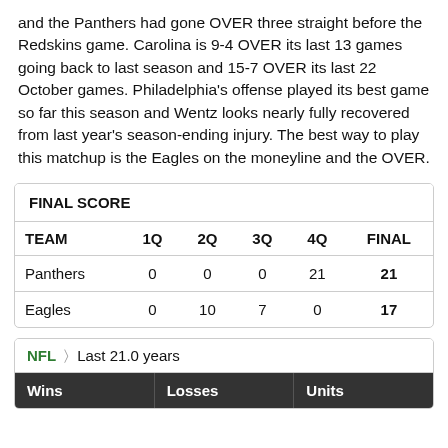and the Panthers had gone OVER three straight before the Redskins game. Carolina is 9-4 OVER its last 13 games going back to last season and 15-7 OVER its last 22 October games. Philadelphia's offense played its best game so far this season and Wentz looks nearly fully recovered from last year's season-ending injury. The best way to play this matchup is the Eagles on the moneyline and the OVER.
| TEAM | 1Q | 2Q | 3Q | 4Q | FINAL |
| --- | --- | --- | --- | --- | --- |
| Panthers | 0 | 0 | 0 | 21 | 21 |
| Eagles | 0 | 10 | 7 | 0 | 17 |
| Wins | Losses | Units |
| --- | --- | --- |